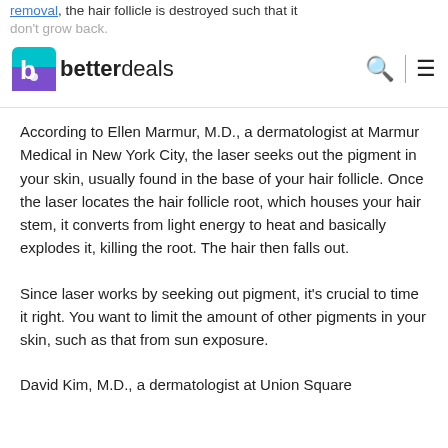removal, the hair follicle is destroyed such that it don't grow back.
According to Ellen Marmur, M.D., a dermatologist at Marmur Medical in New York City, the laser seeks out the pigment in your skin, usually found in the base of your hair follicle. Once the laser locates the hair follicle root, which houses your hair stem, it converts from light energy to heat and basically explodes it, killing the root. The hair then falls out.
Since laser works by seeking out pigment, it's crucial to time it right. You want to limit the amount of other pigments in your skin, such as that from sun exposure.
David Kim, M.D., a dermatologist at Union Square